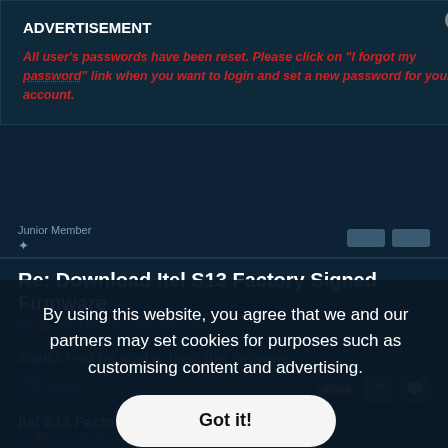ADVERTISEMENT
All user's passwords have been reset. Please click on "I forgot my password" link when you want to login and set a new password for your account.
Junior Member
Re: Download Itel S13 Factory Signed Firmware
#4  Wed Feb 13, 2019 3:57 am
thanks i will be glad to flash this firmware
By using this website, you agree that we and our partners may set cookies for purposes such as customising content and advertising.
Got it!
obre32
Junior Member
Itel S13 Factory Signed Firmware (Free)
#5  Tue Mar 26
File Name: S13-F8012-8.1-OP-V011-20180823
File Size: 742 MB